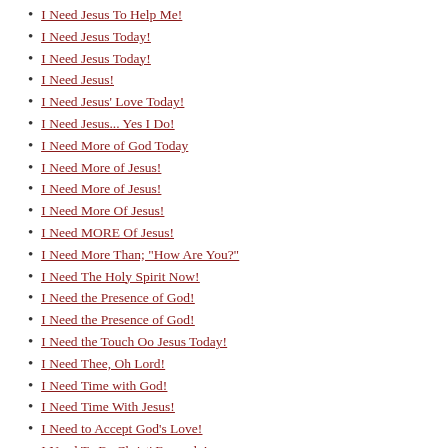I Need Jesus To Help Me!
I Need Jesus Today!
I Need Jesus Today!
I Need Jesus!
I Need Jesus' Love Today!
I Need Jesus... Yes I Do!
I Need More of God Today
I Need More of Jesus!
I Need More of Jesus!
I Need More Of Jesus!
I Need MORE Of Jesus!
I Need More Than; "How Are You?"
I Need The Holy Spirit Now!
I Need the Presence of God!
I Need the Presence of God!
I Need the Touch Oo Jesus Today!
I Need Thee, Oh Lord!
I Need Time with God!
I Need Time With Jesus!
I Need to Accept God's Love!
I Need To Be Christ' Example!
I Need to Be Christ's Example!
I Need to Be Close to Jesus!
I Need to Be Close to Jesus!
I Need to Be Content With Jesus!
I Need to Be More Like Jesus!
I Need to Come Clean for Jesus!
I Need to Daily Live for Jesus!
I Need To Depend On Jesus!
I Need to Faithfully Serve God!